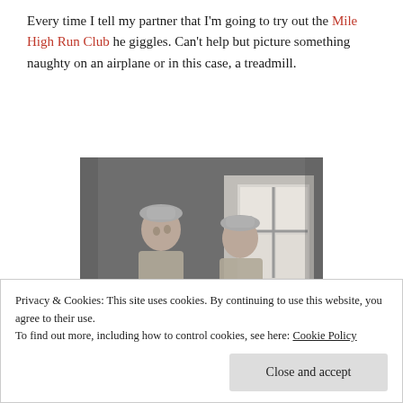Every time I tell my partner that I'm going to try out the Mile High Run Club he giggles. Can't help but picture something naughty on an airplane or in this case, a treadmill.
[Figure (photo): Black and white vintage photograph of two women in athletic/exercise attire standing at treadmill-like exercise equipment in what appears to be an old gym or exercise room with a window in the background.]
Privacy & Cookies: This site uses cookies. By continuing to use this website, you agree to their use.
To find out more, including how to control cookies, see here: Cookie Policy